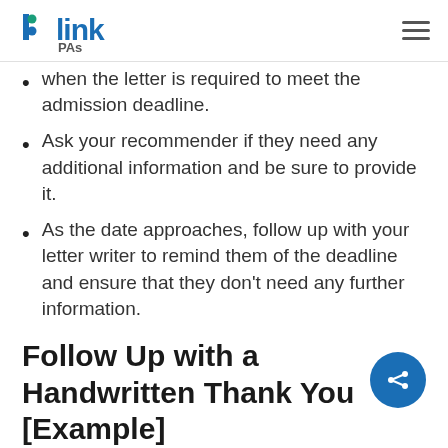Link PAs
when the letter is required to meet the admission deadline.
Ask your recommender if they need any additional information and be sure to provide it.
As the date approaches, follow up with your letter writer to remind them of the deadline and ensure that they don't need any further information.
Follow Up with a Handwritten Thank You [Example]